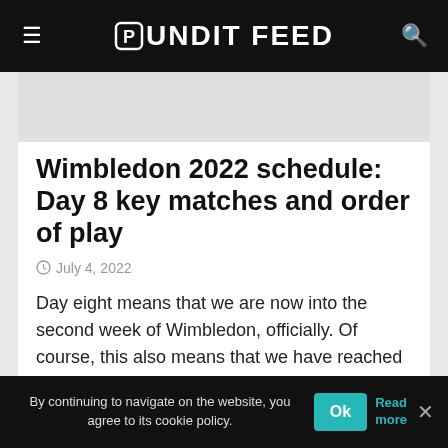Pundit Feed
[Figure (photo): Article thumbnail image placeholder (grey rectangle)]
Wimbledon 2022 schedule: Day 8 key matches and order of play
July 4, 2022
Day eight means that we are now into the second week of Wimbledon, officially. Of course, this also means that we have reached the round of 16 stages for both...
By continuing to navigate on the website, you agree to its cookie policy. Ok Read more